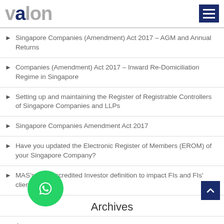VALON
Singapore Companies (Amendment) Act 2017 – AGM and Annual Returns
Companies (Amendment) Act 2017 – Inward Re-Domiciliation Regime in Singapore
Setting up and maintaining the Register of Registrable Controllers of Singapore Companies and LLPs
Singapore Companies Amendment Act 2017
Have you updated the Electronic Register of Members (EROM) of your Singapore Company?
MAS's new Accredited Investor definition to impact FIs and FIs' clients
Archives
A…
March 2017